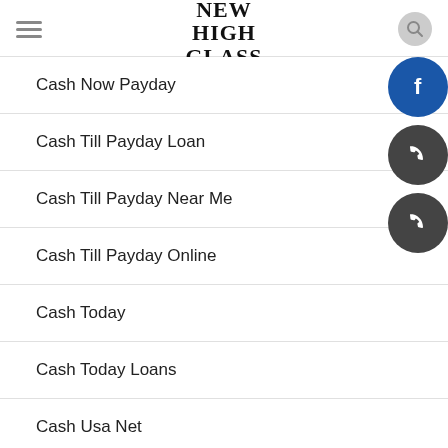New High Glass Colombia
Cash Now Payday
Cash Till Payday Loan
Cash Till Payday Near Me
Cash Till Payday Online
Cash Today
Cash Today Loans
Cash Usa Net
CashMoneyKing